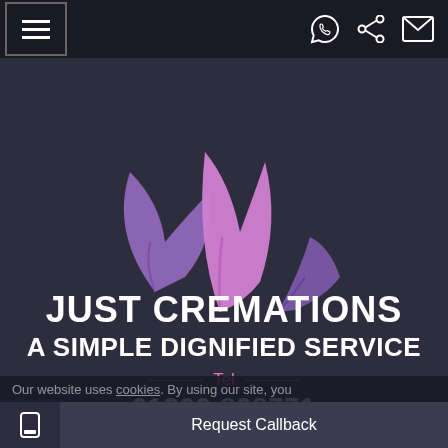Navigation bar with hamburger menu, WhatsApp, share, and email icons
[Figure (logo): Just Cremations logo: three stylized leaves in purple/pink/lavender on dark background, with text JUST CREMATIONS A SIMPLE DIGNIFIED SERVICE]
Tel
01299 828771
Our website uses cookies. By using our site, you agree to our privacy policy. Got It
Request Callback